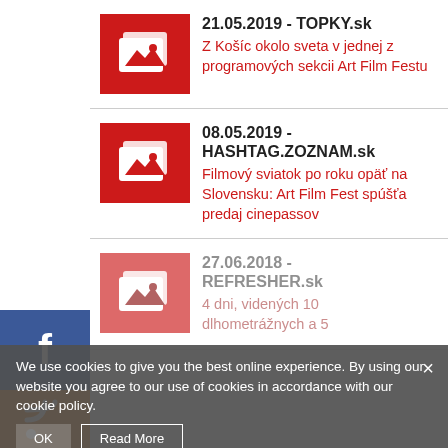[Figure (screenshot): Article thumbnail — red square with media/image icon (two overlapping document cards with a landscape photo symbol)]
21.05.2019 - TOPKY.sk
Z Košíc okolo sveta v jednej z programových sekcii Art Film Festu
[Figure (screenshot): Article thumbnail — red square with media/image icon]
08.05.2019 - HASHTAG.ZOZNAM.sk
Filmový sviatok po roku opäť na Slovensku: Art Film Fest spúšťa predaj cinepassov
[Figure (screenshot): Facebook sidebar icon — blue square with white f]
[Figure (screenshot): RSS sidebar icon — orange square with white RSS symbol]
[Figure (screenshot): Article thumbnail — red square with media/image icon (dimmed under overlay)]
27.06.2018 - REFRESHER.sk
4 dni, videných 10 dlhometrážnych a 5
We use cookies to give you the best online experience. By using our website you agree to our use of cookies in accordance with our cookie policy.